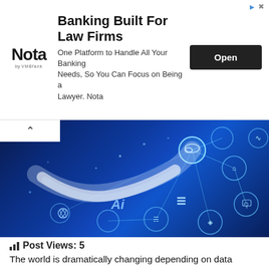[Figure (infographic): Advertisement banner for Nota banking platform. Shows Nota logo, headline 'Banking Built For Law Firms', body text 'One Platform to Handle All Your Banking Needs, So You Can Focus on Being a Lawyer. Nota', and an 'Open' button. Has ad icon and close X in top right.]
[Figure (photo): A robot/AI hand with white and black mechanical fingers reaching toward glowing blue digital icons connected by network lines, representing technology and AI connectivity.]
Post Views: 5
The world is dramatically changing depending on data science's latest trends and patterns. The data report published in 2020 reveals the power of data science in